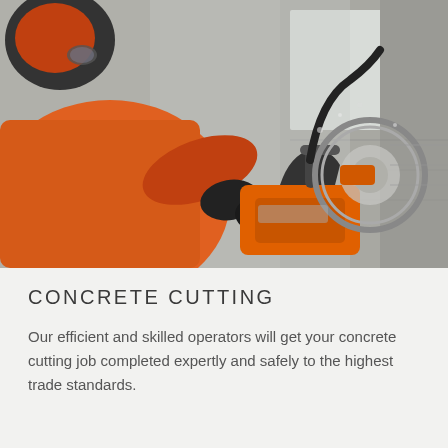[Figure (photo): A worker in an orange jacket and black gloves operating an orange concrete core drilling machine against a concrete wall. The drill bit is circular and cutting into the wall. The scene is dusty and industrial.]
CONCRETE CUTTING
Our efficient and skilled operators will get your concrete cutting job completed expertly and safely to the highest trade standards.